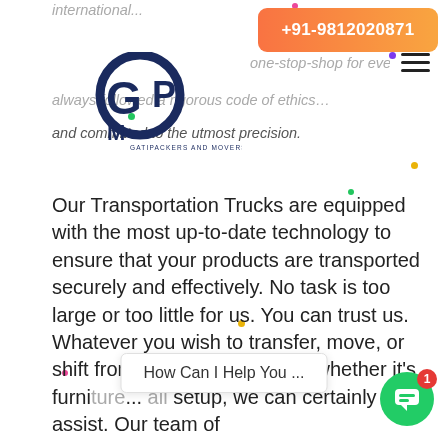+91-9812020871
[Figure (logo): GPM Gati Packers and Movers circular logo in dark navy blue]
international ... one-stop-shop for everything! Bali Movers always followed a rigorous code of ethics and committed to the utmost precision.
Our Transportation Trucks are equipped with the most up-to-date technology to ensure that your products are transported securely and effectively. No task is too large or too little for us. You can trust us. Whatever you wish to transfer, move, or shift from one site to another, whether it's furniture ... all setup, we can certainly assist. Our team of
How Can I Help You ...